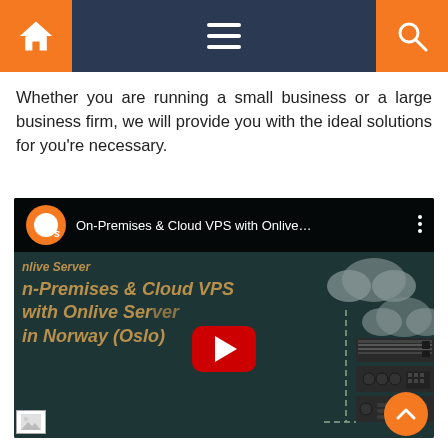[Figure (screenshot): Website navigation bar with orange home icon on left, hamburger menu in dark blue center, and orange search icon on right]
Whether you are running a small business or a large business firm, we will provide you with the ideal solutions for you're necessary.
[Figure (screenshot): YouTube video embed showing 'On-Premises & Cloud VPS with Onlive...' video thumbnail with play button, server rack graphic on right, and Onlive Server channel logo]
[Figure (other): Small broken image icon at bottom left]